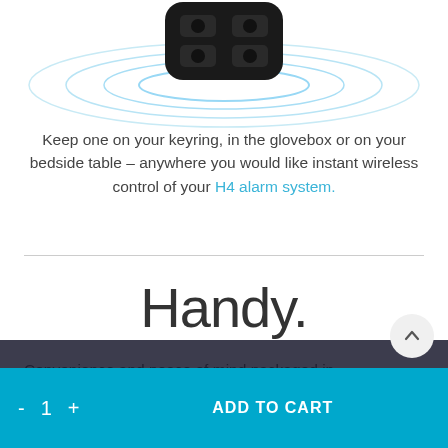[Figure (photo): Black wireless keyfob/remote control device floating above concentric light-blue ripple rings on white background]
Keep one on your keyring, in the glovebox or on your bedside table – anywhere you would like instant wireless control of your H4 alarm system.
Handy.
Convenience and peace of mind packaged in...
ow and earn 39 Reward Points.
- 1 + ADD TO CART